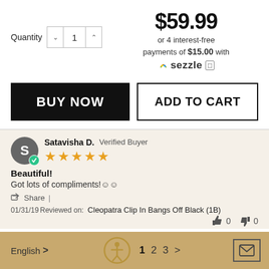Quantity  1
$59.99
or 4 interest-free payments of $15.00 with Sezzle
BUY NOW
ADD TO CART
Satavisha D.  Verified Buyer  ★★★★★
Beautiful!
Got lots of compliments!☺☺
Share  |
01/31/19Reviewed on:  Cleopatra Clip In Bangs Off Black (1B)  👍 0  👎 0
English >   1  2  3  >